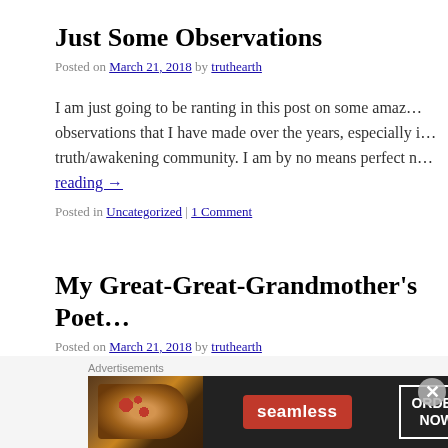Just Some Observations
Posted on March 21, 2018 by truthearth
I am just going to be ranting in this post on some amaz… observations that I have made over the years, especially i… truth/awakening community. I am by no means perfect n… Continue reading →
Posted in Uncategorized | 1 Comment
My Great-Great-Grandmother's Poet…
Posted on March 21, 2018 by truthearth
In light of the recently manifesting Jesus Sychronicities …
Advertisements
[Figure (illustration): Seamless food delivery advertisement banner with pizza image on left, Seamless red logo badge in center, and ORDER NOW button on right, on dark background]